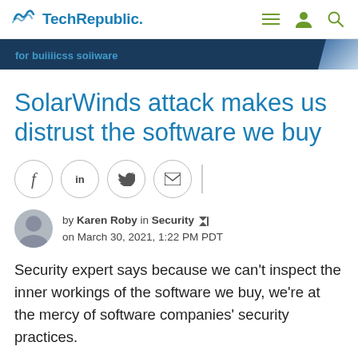TechRepublic.
[Figure (screenshot): Advertisement banner with dark blue background and partially visible text]
SolarWinds attack makes us distrust the software we buy
[Figure (infographic): Social sharing buttons: Facebook, LinkedIn, Twitter, Email]
by Karen Roby in Security on March 30, 2021, 1:22 PM PDT
Security expert says because we can't inspect the inner workings of the software we buy, we're at the mercy of software companies' security practices.